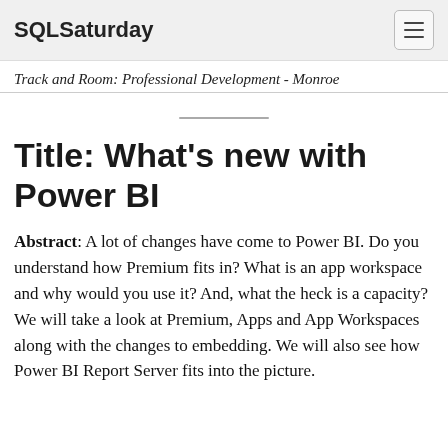SQLSaturday
Track and Room: Professional Development - Monroe
Title: What’s new with Power BI
Abstract: A lot of changes have come to Power BI. Do you understand how Premium fits in? What is an app workspace and why would you use it? And, what the heck is a capacity? We will take a look at Premium, Apps and App Workspaces along with the changes to embedding. We will also see how Power BI Report Server fits into the picture.